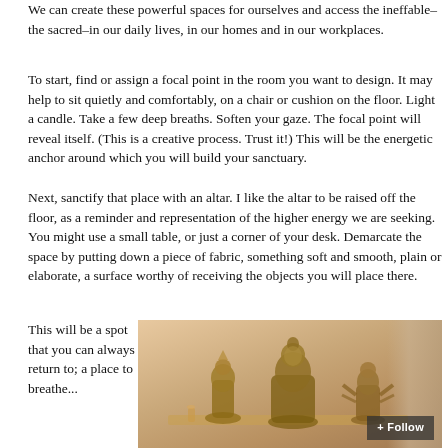We can create these powerful spaces for ourselves and access the ineffable–the sacred–in our daily lives, in our homes and in our workplaces.
To start, find or assign a focal point in the room you want to design. It may help to sit quietly and comfortably, on a chair or cushion on the floor. Light a candle. Take a few deep breaths. Soften your gaze. The focal point will reveal itself. (This is a creative process. Trust it!) This will be the energetic anchor around which you will build your sanctuary.
Next, sanctify that place with an altar. I like the altar to be raised off the floor, as a reminder and representation of the higher energy we are seeking. You might use a small table, or just a corner of your desk. Demarcate the space by putting down a piece of fabric, something soft and smooth, plain or elaborate, a surface worthy of receiving the objects you will place there.
This will be a spot that you can always return to; a place to breathe...
[Figure (photo): A photograph of three bronze/gold Buddha and Hindu deity figurines arranged on a cloth-covered altar surface, with a warm beige/peach wall and curtain visible in the background.]